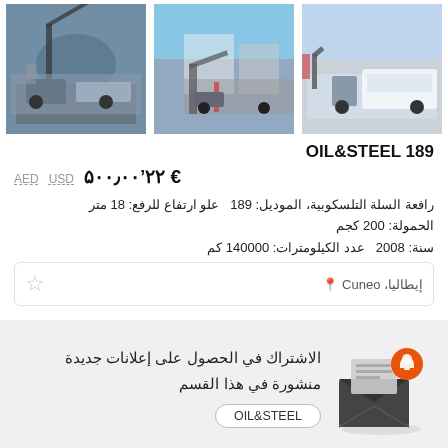[Figure (photo): Three photos of an aerial work platform / cherry picker truck (OIL&STEEL brand) shown from different angles outdoors.]
OIL&STEEL 189
€ ۲۲'۵۰۰٫۰۰  USD  AED
رافعة السلة التلسكوبية، الموديل: 189  علو ارتفاع للرفع: 18 متر الحمولة: 200 كجم سنة: 2008  عدد الكيلومترات: 140000 كم
إيطاليا، Cuneo
الاشتراك في الحصول على إعلانات جديدة منشورة في هذا القسم
OIL&STEEL